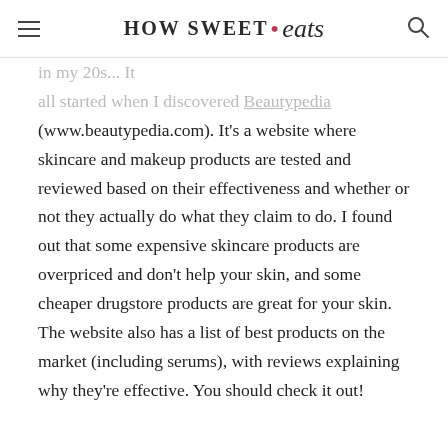HOW SWEET • eats
in my 20s... It all started when I discovered Beautypedia (www.beautypedia.com). It's a website where skincare and makeup products are tested and reviewed based on their effectiveness and whether or not they actually do what they claim to do. I found out that some expensive skincare products are overpriced and don't help your skin, and some cheaper drugstore products are great for your skin. The website also has a list of best products on the market (including serums), with reviews explaining why they're effective. You should check it out!